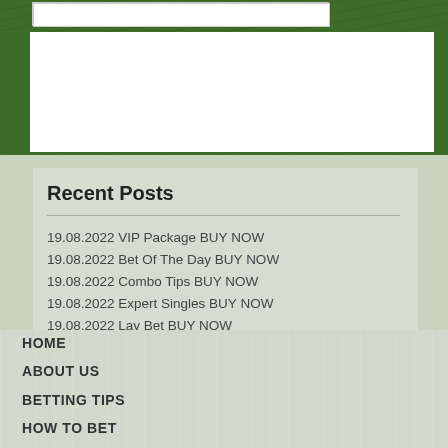Post Comment
Recent Posts
19.08.2022 VIP Package BUY NOW
19.08.2022 Bet Of The Day BUY NOW
19.08.2022 Combo Tips BUY NOW
19.08.2022 Expert Singles BUY NOW
19.08.2022 Lay Bet BUY NOW
19.08.2022 Tennis Tips BUY NOW
HOME
ABOUT US
BETTING TIPS
HOW TO BET